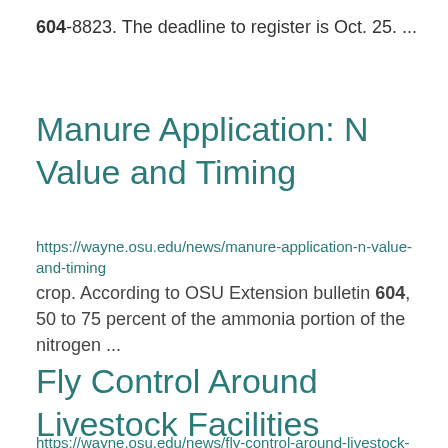604-8823. The deadline to register is Oct. 25. ...
Manure Application: N Value and Timing
https://wayne.osu.edu/news/manure-application-n-value-and-timing
crop. According to OSU Extension bulletin 604, 50 to 75 percent of the ammonia portion of the nitrogen ...
Fly Control Around Livestock Facilities
https://wayne.osu.edu/news/fly-control-around-livestock-facilities